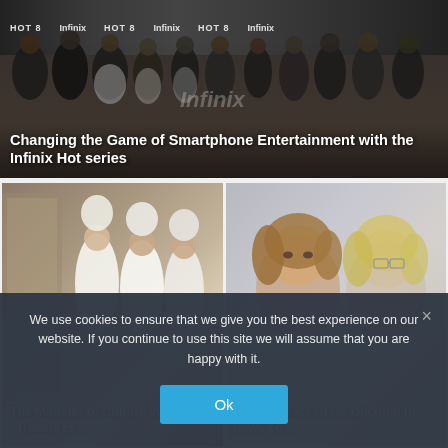[Figure (photo): Group photo of young people in branded shirts at an Infinix Hot series event, with HOT 8 and Infinix branding banners in the background]
Changing the Game of Smartphone Entertainment with the Infinix Hot series
[Figure (photo): The Minister of Culture in traditional white Gulf robes visiting what appears to be a Treasures exhibition or gallery]
The Minister of Culture visits the “Treasures...
[Figure (photo): Two women with serious expressions on a neutral grey background]
Parents Backed for Ditching In-Laws To...
Adventure
We use cookies to ensure that we give you the best experience on our website. If you continue to use this site we will assume that you are happy with it.